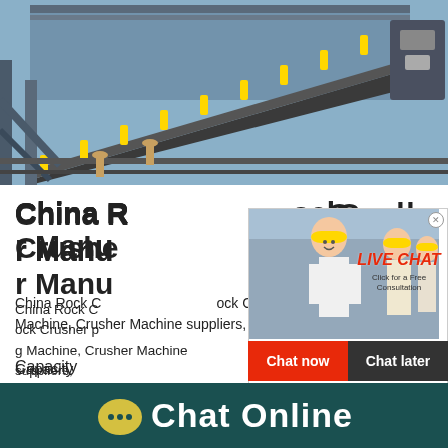[Figure (photo): Industrial machinery conveyor belt photo, overhead view of mining/crushing equipment with yellow and metal components]
China Rock Crusher Manufacturer
China Rock Crusher products, Rock Crusher processing Machine, Crusher Machine suppliers,
Capacity
416T/H
[Figure (screenshot): Live chat popup overlay with woman in hard hat, LIVE CHAT title in red italic, Click for a Free Consultation text, Chat now (red) and Chat later (black) buttons, and a teal satisfaction gauge panel on the right showing emoji faces and Click me to chat >> button, with Enquiry bar at bottom]
[Figure (screenshot): Bottom dark teal bar with chat bubble icon and Chat Online text in white]